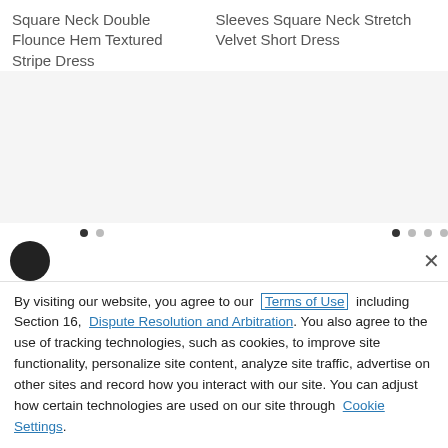Square Neck Double Flounce Hem Textured Stripe Dress
Sleeves Square Neck Stretch Velvet Short Dress
[Figure (screenshot): Product image carousel area with dot navigation indicators]
[Figure (screenshot): Product image carousel area with dot navigation indicators]
By visiting our website, you agree to our Terms of Use including Section 16, Dispute Resolution and Arbitration. You also agree to the use of tracking technologies, such as cookies, to improve site functionality, personalize site content, analyze site traffic, advertise on other sites and record how you interact with our site. You can adjust how certain technologies are used on our site through Cookie Settings.